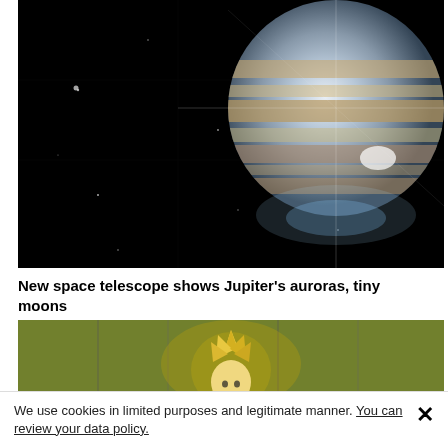[Figure (photo): James Webb Space Telescope image of Jupiter against a black space background. Jupiter is visible in the upper right, showing its characteristic bands and a bright aurora glow. Several faint stars and moons are visible. Bright diffraction spikes extend from Jupiter.]
New space telescope shows Jupiter's auroras, tiny moons
[Figure (photo): Partial image of an anime character (Super Saiyan style) with golden spiky hair against a yellowish-green background.]
We use cookies in limited purposes and legitimate manner. You can review your data policy.